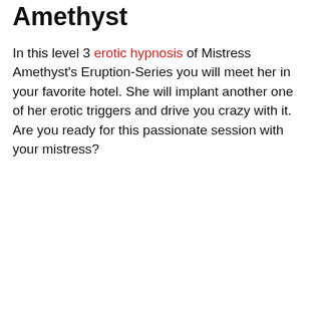Amethyst
In this level 3 erotic hypnosis of Mistress Amethyst's Eruption-Series you will meet her in your favorite hotel. She will implant another one of her erotic triggers and drive you crazy with it. Are you ready for this passionate session with your mistress?